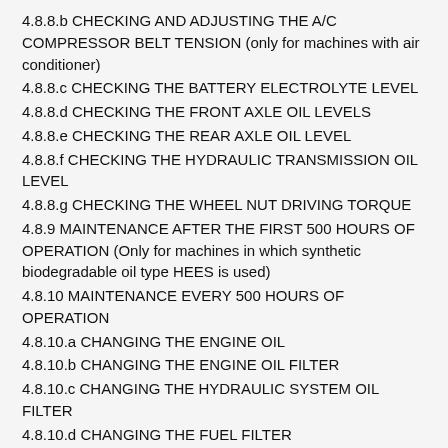4.8.8.b CHECKING AND ADJUSTING THE A/C COMPRESSOR BELT TENSION (only for machines with air conditioner)
4.8.8.c CHECKING THE BATTERY ELECTROLYTE LEVEL
4.8.8.d CHECKING THE FRONT AXLE OIL LEVELS
4.8.8.e CHECKING THE REAR AXLE OIL LEVEL
4.8.8.f CHECKING THE HYDRAULIC TRANSMISSION OIL LEVEL
4.8.8.g CHECKING THE WHEEL NUT DRIVING TORQUE
4.8.9 MAINTENANCE AFTER THE FIRST 500 HOURS OF OPERATION (Only for machines in which synthetic biodegradable oil type HEES is used)
4.8.10 MAINTENANCE EVERY 500 HOURS OF OPERATION
4.8.10.a CHANGING THE ENGINE OIL
4.8.10.b CHANGING THE ENGINE OIL FILTER
4.8.10.c CHANGING THE HYDRAULIC SYSTEM OIL FILTER
4.8.10.d CHANGING THE FUEL FILTER
4.8.10.e DRAINING THE FUEL TANK
4.8.10.f DRAINING THE HYDRAULIC OIL TANK (only for